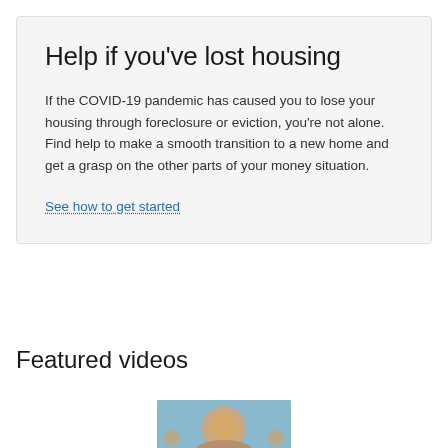Help if you've lost housing
If the COVID-19 pandemic has caused you to lose your housing through foreclosure or eviction, you're not alone. Find help to make a smooth transition to a new home and get a grasp on the other parts of your money situation.
See how to get started
Featured videos
[Figure (photo): Partial screenshot of a video thumbnail showing a person's face at the bottom of the page]